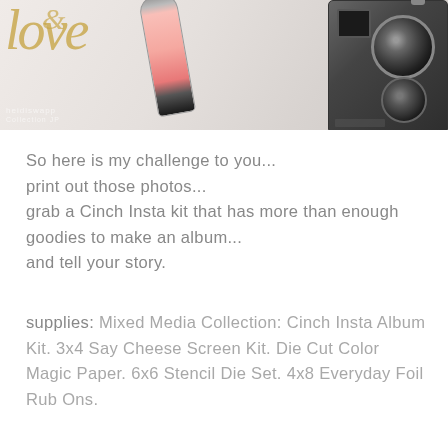[Figure (photo): Flat lay photo showing a gold cursive 'love' text, a pink cosmetic tube, and a vintage twin-lens reflex camera on a light background, with a heidiswapp watermark]
So here is my challenge to you...
print out those photos...
grab a Cinch Insta kit that has more than enough goodies to make an album...
and tell your story.
supplies: Mixed Media Collection: Cinch Insta Album Kit. 3x4 Say Cheese Screen Kit. Die Cut Color Magic Paper. 6x6 Stencil Die Set. 4x8 Everyday Foil Rub Ons.